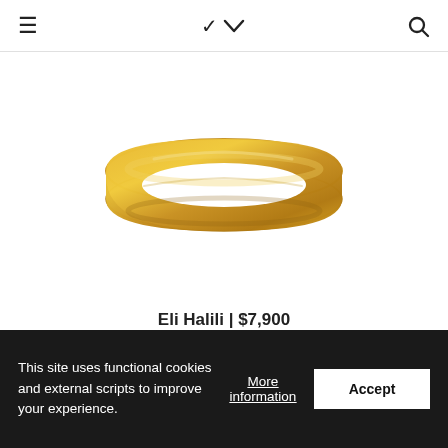≡ ❯ 🔍
[Figure (photo): A gold wide bangle bracelet photographed on a white background. The bangle is a smooth, plain, wide gold band with a polished finish.]
Eli Halili | $7,900
Wide Bangle
This site uses functional cookies and external scripts to improve your experience.
More information
Accept